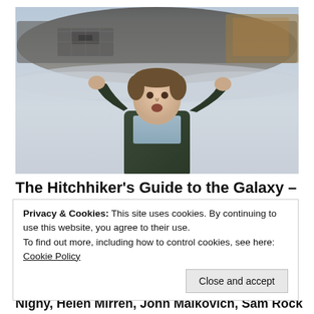[Figure (photo): A man in a dark green robe/cardigan with hands raised to his head, looking upward in shock or awe, with a large alien spaceship visible overhead in a grey sky — movie still from The Hitchhiker's Guide to the Galaxy]
The Hitchhiker's Guide to the Galaxy – Review
Privacy & Cookies: This site uses cookies. By continuing to use this website, you agree to their use. To find out more, including how to control cookies, see here: Cookie Policy
Close and accept
Nighy, Helen Mirren, John Malkovich, Sam Rockwell,